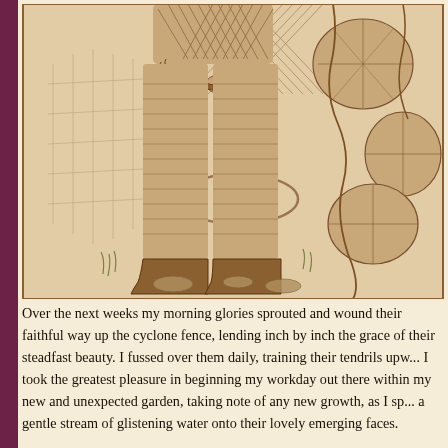[Figure (illustration): Pen-and-ink sepia illustration showing the lower body of a person in striped trousers and boots, holding a gardening tool (dibber or soil spike), with morning glory plants climbing a fence visible on the right side, ground with rocks and grass at their feet.]
Over the next weeks my morning glories sprouted and wound their faithful way up the cyclone fence, lending inch by inch the grace of their steadfast beauty. I fussed over them daily, training their tendrils upw... I took the greatest pleasure in beginning my workday out there within my new and unexpected garden, taking note of any new growth, as I sp... a gentle stream of glistening water onto their lovely emerging faces.